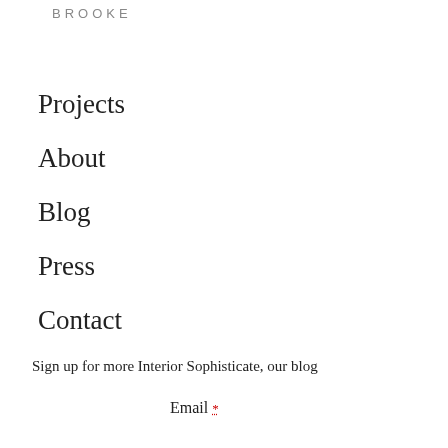BROOKE
Projects
About
Blog
Press
Contact
Sign up for more Interior Sophisticate, our blog
Email *